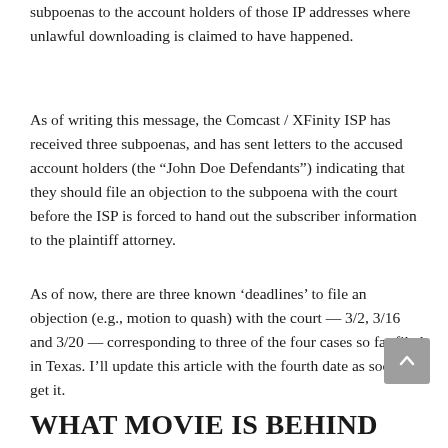subpoenas to the account holders of those IP addresses where unlawful downloading is claimed to have happened.
As of writing this message, the Comcast / XFinity ISP has received three subpoenas, and has sent letters to the accused account holders (the “John Doe Defendants”) indicating that they should file an objection to the subpoena with the court before the ISP is forced to hand out the subscriber information to the plaintiff attorney.
As of now, there are three known ‘deadlines’ to file an objection (e.g., motion to quash) with the court — 3/2, 3/16 and 3/20 — corresponding to three of the four cases so far filed in Texas. I’ll update this article with the fourth date as soon as I get it.
WHAT MOVIE IS BEHIND